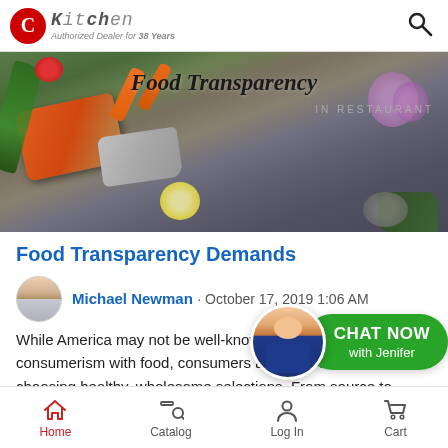CKitchen — Authorized Dealer for 38 Years
[Figure (photo): Food transparency blog hero image showing salmon filets, herbs, tomatoes, carrots, and flowers on a dark background with text 'Food Transparency In Restaurant']
Food Transparency Demands
Michael Newman · October 17, 2019 1:06 AM
While America may not be well-known for healthy consumerism with food, consumers are more interested in choosing healthy, wholesome selections. From source to preparation,
[Figure (photo): Chat now with Jenifer widget — green pill-shaped button with woman avatar]
Home   Catalog   Log In   Cart